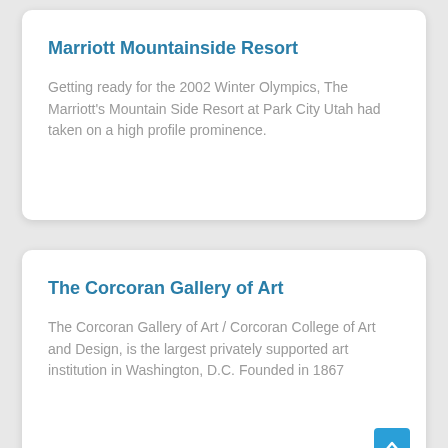Marriott Mountainside Resort
Getting ready for the 2002 Winter Olympics, The Marriott's Mountain Side Resort at Park City Utah had taken on a high profile prominence.
The Corcoran Gallery of Art
The Corcoran Gallery of Art / Corcoran College of Art and Design, is the largest privately supported art institution in Washington, D.C. Founded in 1867